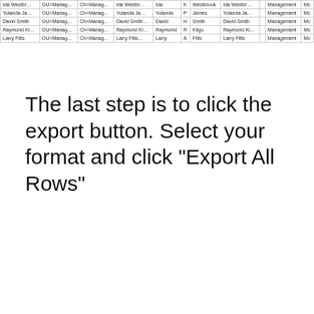[Figure (screenshot): Partial screenshot of a data table showing rows with truncated column values including names like Ida Westbr., Yolanda Ja., David Smith, Raymond Ki., Larry Fitts, with columns showing OU=Manag., Ch=Manag., and Management fields.]
The last step is to click the export button. Select your format and click “Export All Rows”